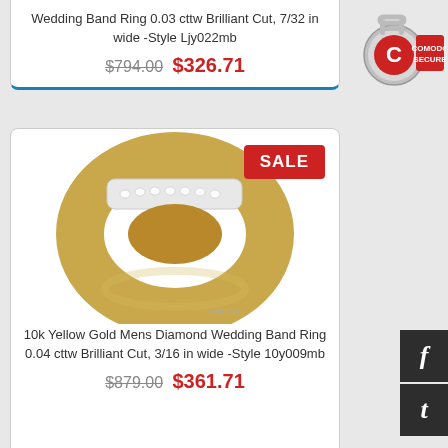Wedding Band Ring 0.03 cttw Brilliant Cut, 7/32 in wide -Style Ljy022mb
$794.00 $326.71
[Figure (photo): Comodo Secure badge/lock icon in top right corner]
[Figure (photo): 10k Yellow Gold Mens Diamond Wedding Band Ring with diamond channel setting, shown with reflection. SALE badge in top right corner of card.]
10k Yellow Gold Mens Diamond Wedding Band Ring 0.04 cttw Brilliant Cut, 3/16 in wide -Style 10y009mb
$879.00 $361.71
[Figure (photo): Partial product card at bottom with SALE badge visible]
[Figure (logo): Facebook social share button (dark background with f)]
[Figure (logo): Twitter social share button (dark background with t)]